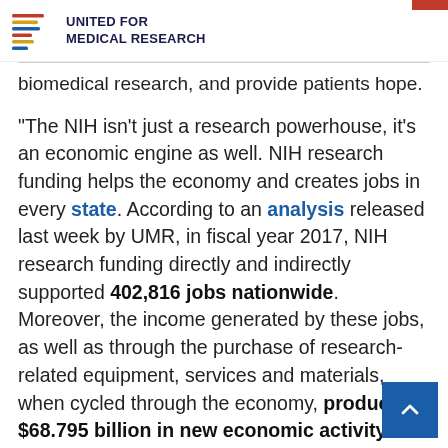UNITED FOR MEDICAL RESEARCH
biomedical research, and provide patients hope.
“The NIH isn’t just a research powerhouse, it’s an economic engine as well. NIH research funding helps the economy and creates jobs in every state. According to an analysis released last week by UMR, in fiscal year 2017, NIH research funding directly and indirectly supported 402,816 jobs nationwide.  Moreover, the income generated by these jobs, as well as through the purchase of research-related equipment, services and materials, when cycled through the economy, produced $68.795 billion in new economic activity. According to the analysis, the median state has 4,014 jobs